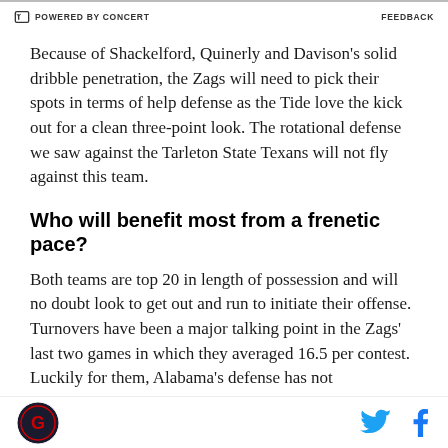POWERED BY CONCERT   FEEDBACK
Because of Shackelford, Quinerly and Davison's solid dribble penetration, the Zags will need to pick their spots in terms of help defense as the Tide love the kick out for a clean three-point look. The rotational defense we saw against the Tarleton State Texans will not fly against this team.
Who will benefit most from a frenetic pace?
Both teams are top 20 in length of possession and will no doubt look to get out and run to initiate their offense. Turnovers have been a major talking point in the Zags' last two games in which they averaged 16.5 per contest. Luckily for them, Alabama's defense has not